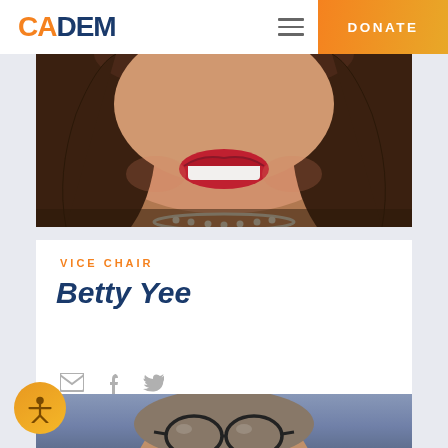CADEM | DONATE
[Figure (photo): Photo of Betty Yee, lower face visible with wide smile and red lipstick, dark wavy hair, wearing a necklace]
VICE CHAIR
Betty Yee
[Figure (infographic): Social media icons: email envelope, Facebook, Twitter]
[Figure (photo): Photo of a man wearing dark-rimmed glasses, partial face visible, blurred blue background]